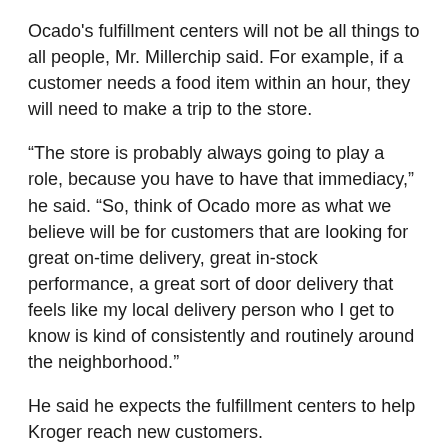Ocado's fulfillment centers will not be all things to all people, Mr. Millerchip said. For example, if a customer needs a food item within an hour, they will need to make a trip to the store.
“The store is probably always going to play a role, because you have to have that immediacy,” he said. “So, think of Ocado more as what we believe will be for customers that are looking for great on-time delivery, great in-stock performance, a great sort of door delivery that feels like my local delivery person who I get to know is kind of consistently and routinely around the neighborhood.”
He said he expects the fulfillment centers to help Kroger reach new customers.
“Ocado is able to get into some of those places where the customer would today define as not being convenient for them to shop at Kroger,” he said. “In Florida, it’s obviously a